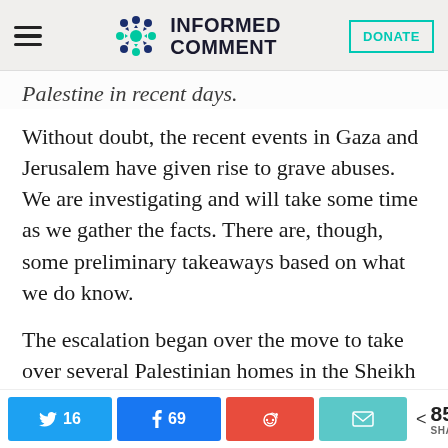Informed Comment — DONATE
Palestine in recent days.
Without doubt, the recent events in Gaza and Jerusalem have given rise to grave abuses. We are investigating and will take some time as we gather the facts. There are, though, some preliminary takeaways based on what we do know.
The escalation began over the move to take over several Palestinian homes in the Sheikh Jarrah neighborhood of East Jerusalem.
Twitter 16  Facebook 69  Reddit  Email  < 85 SHARES